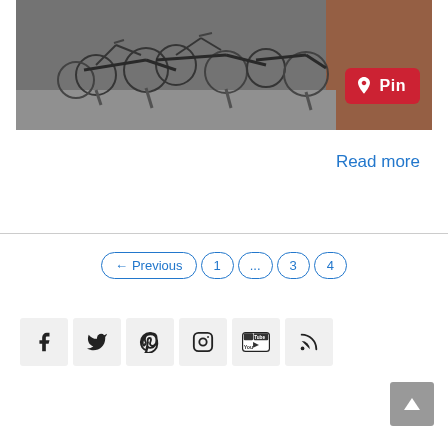[Figure (photo): Pile of bicycles on bicycle racks, outdoors against a brick wall. A red Pinterest 'Pin' button overlaid at bottom right of image.]
Read more
← Previous  1  ...  3  4
[Figure (other): Social media icons: Facebook, Twitter, Pinterest, Instagram, YouTube, RSS feed. Scroll-to-top button at bottom right.]